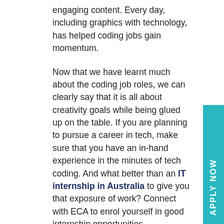engaging content. Every day, including graphics with technology, has helped coding jobs gain momentum.
Now that we have learnt much about the coding job roles, we can clearly say that it is all about creativity goals while being glued up on the table. If you are planning to pursue a career in tech, make sure that you have an in-hand experience in the minutes of tech coding. And what better than an IT internship in Australia to give you that exposure of work? Connect with ECA to enrol yourself in good internship opportunities.